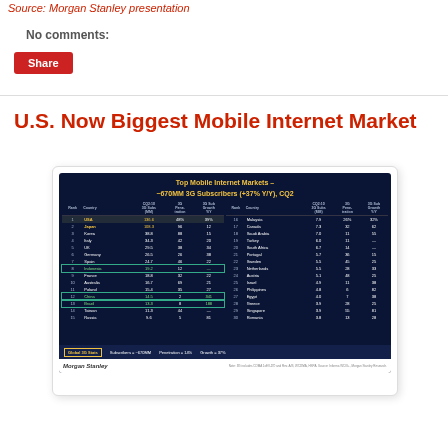Source: Morgan Stanley presentation
No comments:
Share
U.S. Now Biggest Mobile Internet Market
[Figure (table-as-image): Top Mobile Internet Markets – ~670MM 3G Subscribers (+37% Y/Y), CQ2. Table showing rank, country, CQ2:10 3G Subs (MM), 3G Penetration, 3G Sub Growth Y/Y for top 30 markets. Left side ranks 1-15, right side ranks 16-30. Global 3G Stats: Subscribers = ~670MM, Penetration = 14%, Growth = 37%. Source: Morgan Stanley.]